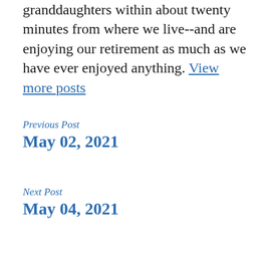granddaughters within about twenty minutes from where we live--and are enjoying our retirement as much as we have ever enjoyed anything. View more posts
Previous Post
May 02, 2021
Next Post
May 04, 2021